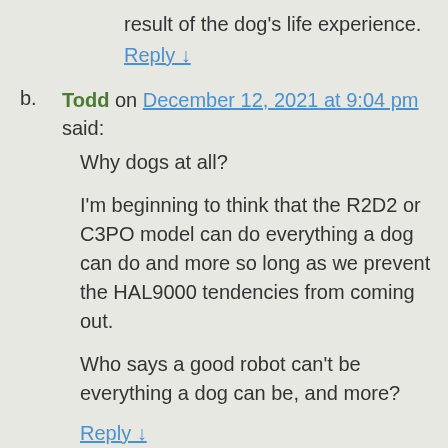result of the dog's life experience.
Reply ↓
b. Todd on December 12, 2021 at 9:04 pm said:
Why dogs at all?
I'm beginning to think that the R2D2 or C3PO model can do everything a dog can do and more so long as we prevent the HAL9000 tendencies from coming out.
Who says a good robot can't be everything a dog can be, and more?
Reply ↓
a. Your Quiet Neighbor on December 13, 2021 at 8:16 am said: